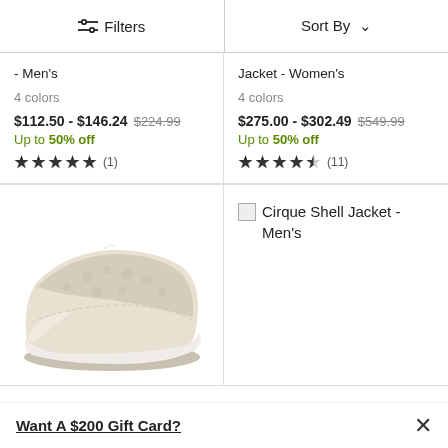Filters | Sort By
- Men's
4 colors
$112.50 - $146.24 $224.99
Up to 50% off
★★★★★ (1)
Jacket - Women's
4 colors
$275.00 - $302.49 $549.99
Up to 50% off
★★★★½ (11)
[Figure (photo): Quilted slip-on shoe/slipper in beige/white pattern]
Cirque Shell Jacket - Men's
Want A $200 Gift Card?